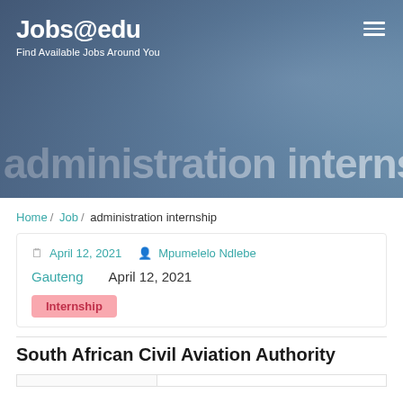Jobs@edu — Find Available Jobs Around You
administration internship
Home / Job / administration internship
April 12, 2021   Mpumelelo Ndlebe
Gauteng   April 12, 2021
Internship
South African Civil Aviation Authority